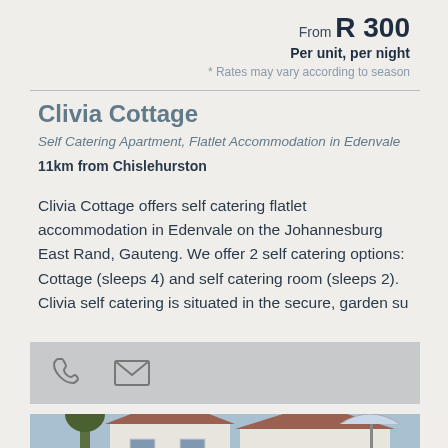From R 300
Per unit, per night
* Rates may vary according to season
Clivia Cottage
Self Catering Apartment, Flatlet Accommodation in Edenvale
11km from Chislehurston
Clivia Cottage offers self catering flatlet accommodation in Edenvale on the Johannesburg East Rand, Gauteng. We offer 2 self catering options: Cottage (sleeps 4) and self catering room (sleeps 2). Clivia self catering is situated in the secure, garden su
[Figure (photo): Exterior photo of a white modern house/cottage with tiled roof and umbrella visible]